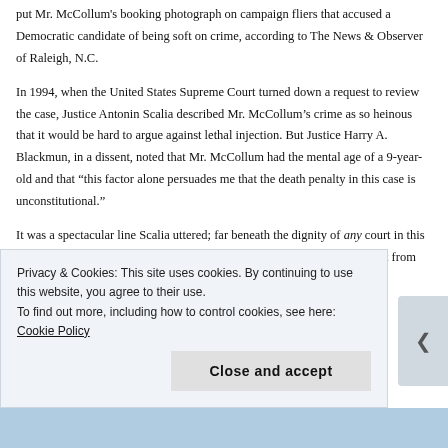put Mr. McCollum's booking photograph on campaign fliers that accused a Democratic candidate of being soft on crime, according to The News & Observer of Raleigh, N.C.
In 1994, when the United States Supreme Court turned down a request to review the case, Justice Antonin Scalia described Mr. McCollum’s crime as so heinous that it would be hard to argue against lethal injection. But Justice Harry A. Blackmun, in a dissent, noted that Mr. McCollum had the mental age of a 9-year-old and that “this factor alone persuades me that the death penalty in this case is unconstitutional.”
It was a spectacular line Scalia uttered; far beneath the dignity of any court in this fair land. Jonathan M. Katz and Erik Eckholm were kind enough to omit it from their New York Times article describing this week’s acquittal of
Privacy & Cookies: This site uses cookies. By continuing to use this website, you agree to their use.
To find out more, including how to control cookies, see here: Cookie Policy
Close and accept